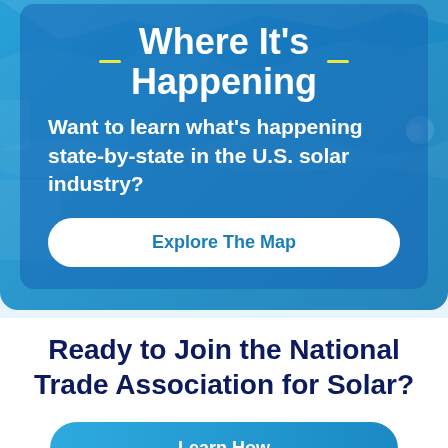Where It's Happening
Want to learn what's happening state-by-state in the U.S. solar industry?
Explore The Map
Ready to Join the National Trade Association for Solar?
Learn How